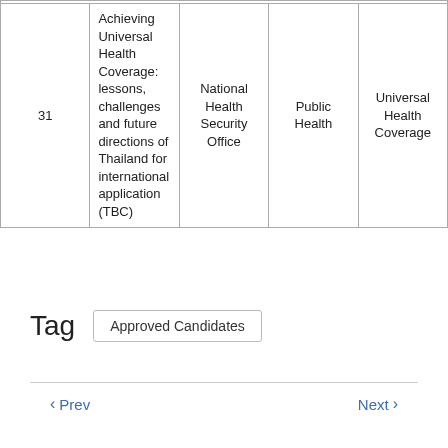|  | Title | Organization | Topic | Tag |
| --- | --- | --- | --- | --- |
| 31 | Achieving Universal Health Coverage: lessons, challenges and future directions of Thailand for international application (TBC) | National Health Security Office | Public Health | Universal Health Coverage |
Tag   Approved Candidates
< Prev   Next >